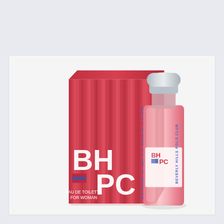Out of Stock
[Figure (photo): Product photo of BHPC Beverly Hills Polo Club Eau de Toilette for Woman. Shows a pink/red ridged rectangular box with white and blue BHPC branding and 'BEVERLY HILLS POLO CLUB' text vertically, alongside a pink glass perfume bottle with silver cap, also branded BHPC Beverly Hills Polo Club. Text on box: EAU DE TOILETTE FOR WOMAN.]